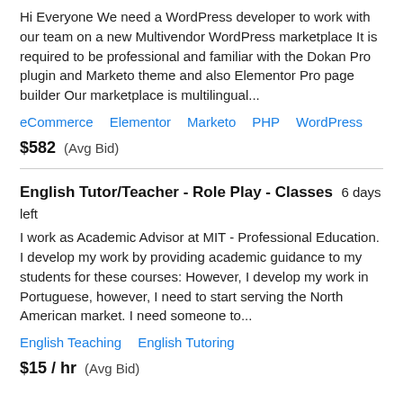Hi Everyone We need a WordPress developer to work with our team on a new Multivendor WordPress marketplace It is required to be professional and familiar with the Dokan Pro plugin and Marketo theme and also Elementor Pro page builder Our marketplace is multilingual...
eCommerce   Elementor   Marketo   PHP   WordPress
$582  (Avg Bid)
English Tutor/Teacher - Role Play - Classes  6 days left
I work as Academic Advisor at MIT - Professional Education. I develop my work by providing academic guidance to my students for these courses: However, I develop my work in Portuguese, however, I need to start serving the North American market. I need someone to...
English Teaching   English Tutoring
$15 / hr  (Avg Bid)